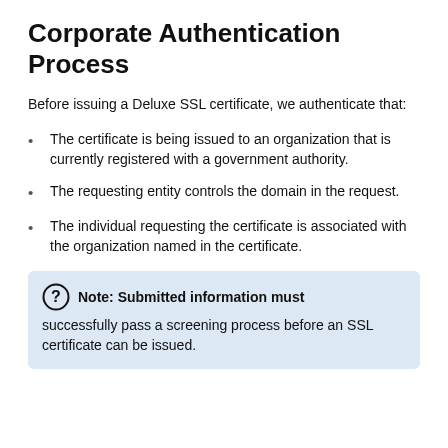Corporate Authentication Process
Before issuing a Deluxe SSL certificate, we authenticate that:
The certificate is being issued to an organization that is currently registered with a government authority.
The requesting entity controls the domain in the request.
The individual requesting the certificate is associated with the organization named in the certificate.
Note: Submitted information must successfully pass a screening process before an SSL certificate can be issued.